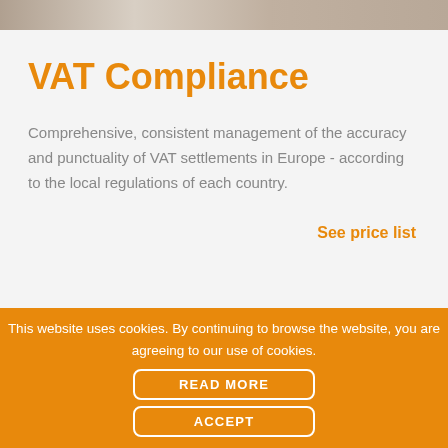[Figure (photo): Top portion of a photo showing a desk scene with papers and a device]
VAT Compliance
Comprehensive, consistent management of the accuracy and punctuality of VAT settlements in Europe - according to the local regulations of each country.
See price list
[Figure (photo): Partial photo showing a person in a light blue shirt at a desk with a plant and a calculator in background]
This website uses cookies. By continuing to browse the website, you are agreeing to our use of cookies.
READ MORE
ACCEPT